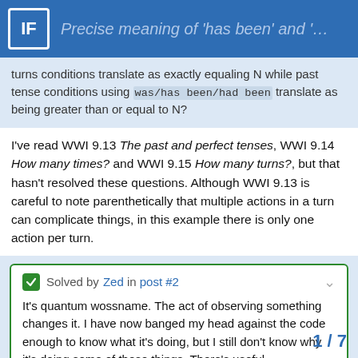Precise meaning of 'has been' and 'had been' i...
turns conditions translate as exactly equaling N while past tense conditions using was/has been/had been translate as being greater than or equal to N?
I've read WWI 9.13 The past and perfect tenses, WWI 9.14 How many times? and WWI 9.15 How many turns?, but that hasn't resolved these questions. Although WWI 9.13 is careful to note parenthetically that multiple actions in a turn can complicate things, in this example there is only one action per turn.
Solved by Zed in post #2
It's quantum wossname. The act of observing something changes it. I have now banged my head against the code enough to know what it's doing, but I still don't know why it's doing some of those things. There's useful documentation in Chronology. But I had to read the I7 compiler's I6 output to get a...
1 / 7